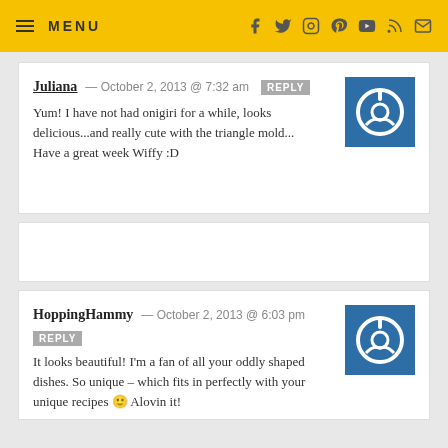MENU
Juliana — October 2, 2013 @ 7:32 am REPLY
Yum! I have not had onigiri for a while, looks delicious...and really cute with the triangle mold...
Have a great week Wiffy :D
HoppingHammy — October 2, 2013 @ 6:03 pm REPLY
It looks beautiful! I'm a fan of all your oddly shaped dishes. So unique – which fits in perfectly with your unique recipes 🙂 Alovin it!